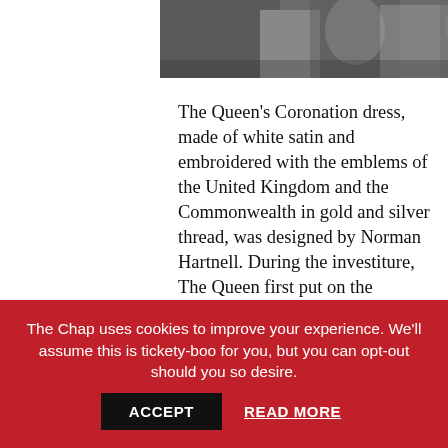[Figure (photo): Black and white photograph showing the Queen in coronation regalia, cropped to show upper portion]
The Queen's Coronation dress, made of white satin and embroidered with the emblems of the United Kingdom and the Commonwealth in gold and silver thread, was designed by Norman Hartnell. During the investiture, The Queen first put on the Colobium Sindonis, a loose linen-lawn garment, and then a robe of cloth of gold called the Dalmatic or Supertunica. Finally, The Queen put on the Robe Royal, a stole and cloth of gold, and received the orb, the coronation ring, the glove and the sceptre.
The Chap uses cookies to improve your experience. We'll assume this is tickety-boo for you, but you can opt-out should you so desire. ACCEPT READ MORE